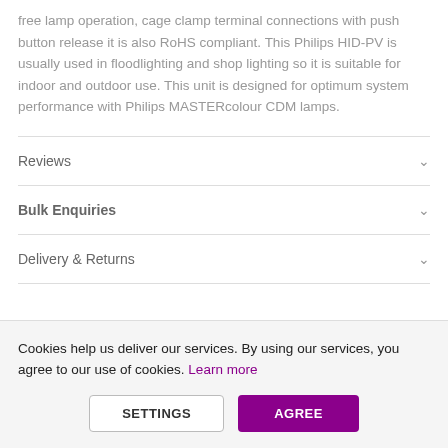free lamp operation, cage clamp terminal connections with push button release it is also RoHS compliant. This Philips HID-PV is usually used in floodlighting and shop lighting so it is suitable for indoor and outdoor use. This unit is designed for optimum system performance with Philips MASTERcolour CDM lamps.
Reviews
Bulk Enquiries
Delivery & Returns
Cookies help us deliver our services. By using our services, you agree to our use of cookies. Learn more